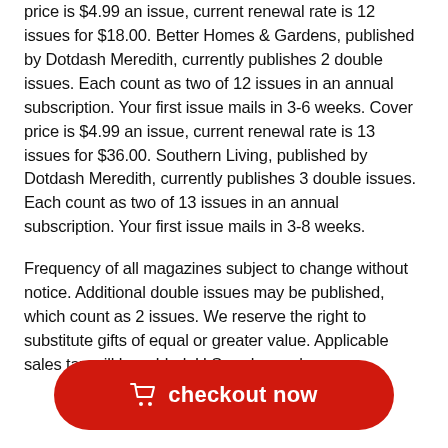price is $4.99 an issue, current renewal rate is 12 issues for $18.00. Better Homes & Gardens, published by Dotdash Meredith, currently publishes 2 double issues. Each count as two of 12 issues in an annual subscription. Your first issue mails in 3-6 weeks. Cover price is $4.99 an issue, current renewal rate is 13 issues for $36.00. Southern Living, published by Dotdash Meredith, currently publishes 3 double issues. Each count as two of 13 issues in an annual subscription. Your first issue mails in 3-8 weeks.

Frequency of all magazines subject to change without notice. Additional double issues may be published, which count as 2 issues. We reserve the right to substitute gifts of equal or greater value. Applicable sales tax will be added. U.S. orders only.
checkout now